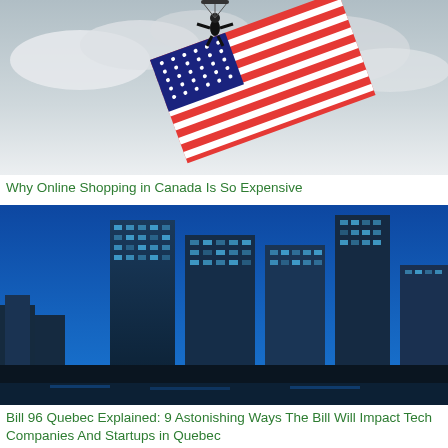[Figure (photo): A skydiver in the air carrying a large American flag against a cloudy sky]
Why Online Shopping in Canada Is So Expensive
[Figure (photo): A nighttime cityscape of a major city with illuminated glass skyscrapers and blue sky]
Bill 96 Quebec Explained: 9 Astonishing Ways The Bill Will Impact Tech Companies And Startups in Quebec